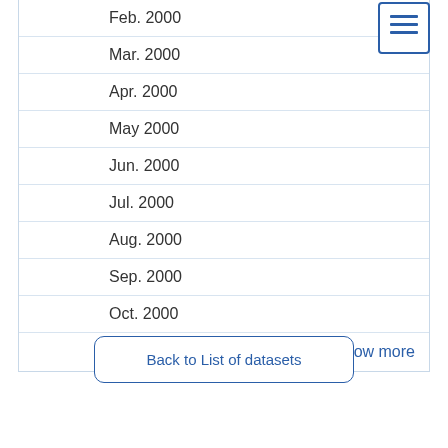| Date |  |
| --- | --- |
| Feb. 2000 |  |
| Mar. 2000 |  |
| Apr. 2000 |  |
| May 2000 |  |
| Jun. 2000 |  |
| Jul. 2000 |  |
| Aug. 2000 |  |
| Sep. 2000 |  |
| Oct. 2000 |  |
| Show more |  |
Back to List of datasets